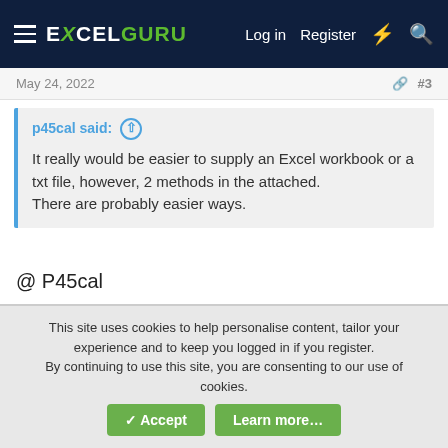EXCELGURU — Log in  Register
May 24, 2022   #3
p45cal said: ↑
It really would be easier to supply an Excel workbook or a txt file, however, 2 methods in the attached.
There are probably easier ways.
@ P45cal
My file is in csv format . Can I attach? the system is not allowing me to attach the file
Anyway, I am grateful for your help. I am working it out from the queries to make sense of your queries
This site uses cookies to help personalise content, tailor your experience and to keep you logged in if you register.
By continuing to use this site, you are consenting to our use of cookies.